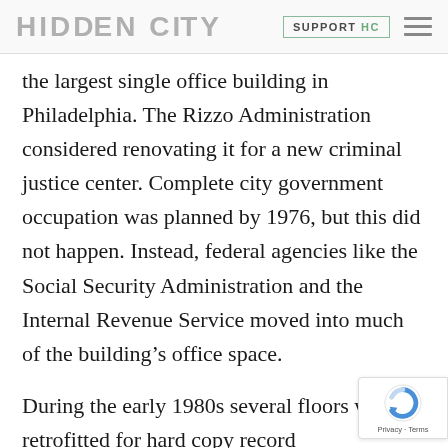HIDDEN CITY | SUPPORT HC
the largest single office building in Philadelphia. The Rizzo Administration considered renovating it for a new criminal justice center. Complete city government occupation was planned by 1976, but this did not happen. Instead, federal agencies like the Social Security Administration and the Internal Revenue Service moved into much of the building’s office space.
During the early 1980s several floors we retrofitted for hard copy record warehousing for tenants like General